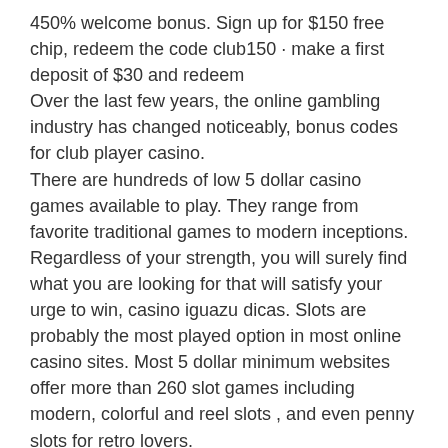450% welcome bonus. Sign up for $150 free chip, redeem the code club150 · make a first deposit of $30 and redeem Over the last few years, the online gambling industry has changed noticeably, bonus codes for club player casino. There are hundreds of low 5 dollar casino games available to play. They range from favorite traditional games to modern inceptions. Regardless of your strength, you will surely find what you are looking for that will satisfy your urge to win, casino iguazu dicas. Slots are probably the most played option in most online casino sites. Most 5 dollar minimum websites offer more than 260 slot games including modern, colorful and reel slots , and even penny slots for retro lovers. The bonus may be valid only for players who comply with the bonus terms and conditions. Club player casino visit. $25 free chip at club player casino. $35 free chip. $100 free chip.